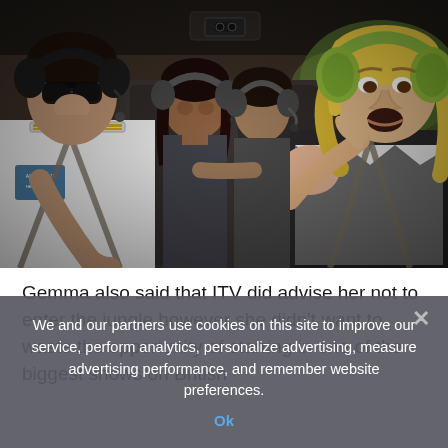[Figure (photo): Photo showing people inside a helicopter. On the left is a pilot wearing a white uniform, sunglasses and headphones. In the middle are two people wearing headsets. On the right is a blonde woman wearing green ear protection headphones and a black and white patterned outfit, appearing distressed with her hand raised to her mouth.]
Gemma also said that ITV did advise her not to enter the jungle however she didn't want to waste the opportunity of starring in one of the biggest shows on British
We and our partners use cookies on this site to improve our service, perform analytics, personalize advertising, measure advertising performance, and remember website preferences.
Ok